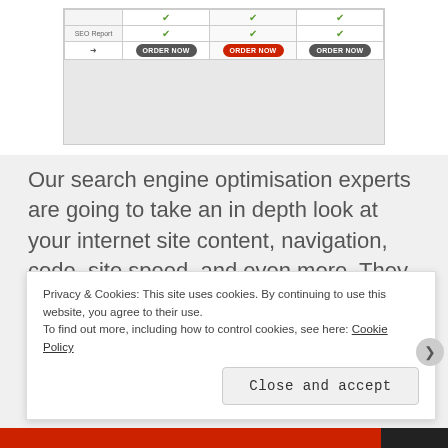[Figure (screenshot): Partial screenshot of a pricing table showing SEO Report row with checkmarks and three ORDER NOW buttons (two dark, one red/highlighted in center column)]
Our search engine optimisation experts are going to take an in depth look at your internet site content, navigation, code, site speed, and even more. They utilize high quality content and a proper search engine marketing strategy to optimize your search
Privacy & Cookies: This site uses cookies. By continuing to use this website, you agree to their use.
To find out more, including how to control cookies, see here: Cookie Policy
Close and accept